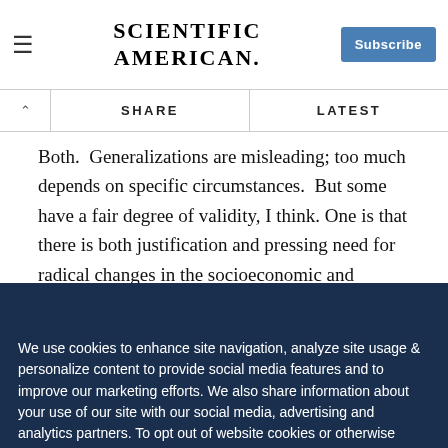Scientific American — Subscribe
SHARE   LATEST
Both.  Generalizations are misleading; too much depends on specific circumstances.  But some have a fair degree of validity, I think. One is that there is both justification and pressing need for radical changes in the socioeconomic and political orders.  We cannot know to what extent they can be achieved by incremental reforms, which are to be valued on their own.  But unless the great mass of the population comes to believe that needed change cannot be implemented within
We Value Your Privacy
We use cookies to enhance site navigation, analyze site usage & personalize content to provide social media features and to improve our marketing efforts. We also share information about your use of our site with our social media, advertising and analytics partners. To opt out of website cookies or otherwise manage your cookie settings, click on Cookie Settings. View Our